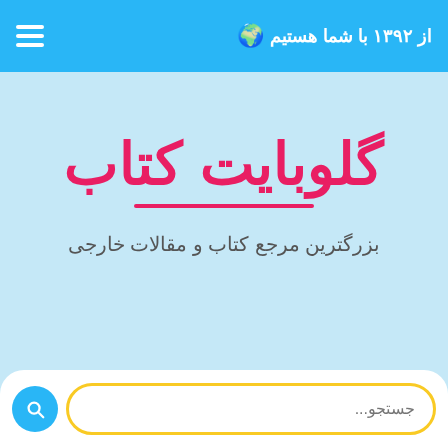از ۱۳۹۲ با شما هستیم
گلوبایت کتاب
بزرگترین مرجع کتاب و مقالات خارجی